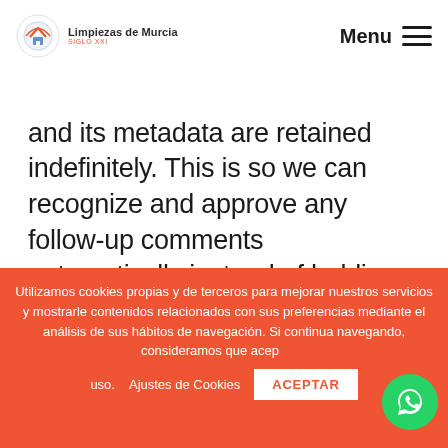Limpiezas de Murcia SIGLO XXI | Menu
and its metadata are retained indefinitely. This is so we can recognize and approve any follow-up comments automatically instead of holding them in a moderation queue.
Utilizamos cookies propias y de terceros para mejorar nuestros servicios y mostrarle contenidos relacionados con sus preferencias mediante el análisis de sus hábitos de navegación. Si continua navegando, consideramos que acepta su uso.    Ajustes de Cookies    ACEPTAR